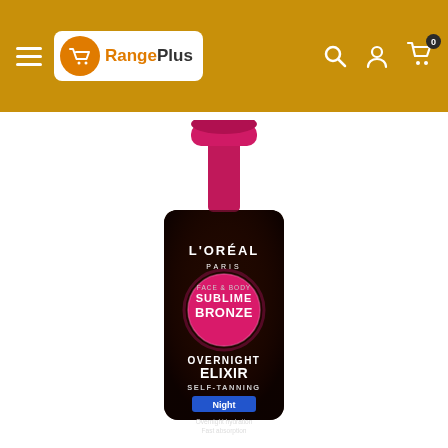RangePlus — navigation header with hamburger menu, logo, search, account, and cart icons
[Figure (photo): L'Oreal Paris Sublime Bronze Overnight Elixir Self-Tanning Night product bottle with dark brown bottle body, hot pink pump cap, and pink circular brand badge. Text on bottle: L'OREAL PARIS, SUBLIME BRONZE, OVERNIGHT ELIXIR SELF-TANNING, Night, Overnight hydration, Fast absorption, Anti-streaks, FACE & BODY, NATURAL-LOOKING TAN]